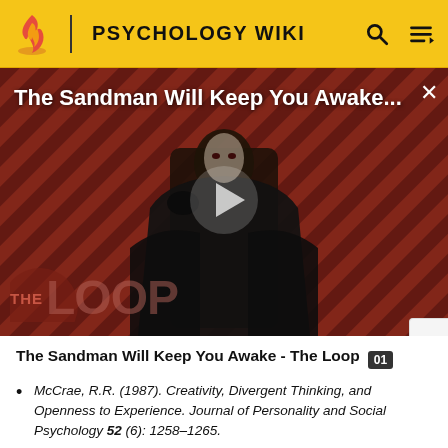PSYCHOLOGY WIKI
[Figure (screenshot): Video thumbnail for 'The Sandman Will Keep You Awake...' on The Loop, showing a dark-cloaked figure against a red and black striped background with a play button overlay and The Loop logo.]
The Sandman Will Keep You Awake - The Loop
McCrae, R.R. (1987). Creativity, Divergent Thinking, and Openness to Experience. Journal of Personality and Social Psychology 52 (6): 1258–1265.
Michalka, M., Cracking Creativity: The Secrets of...